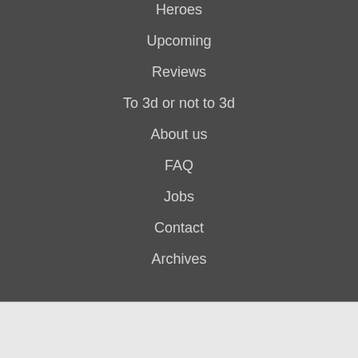Heroes
Upcoming
Reviews
To 3d or not to 3d
About us
FAQ
Jobs
Contact
Archives